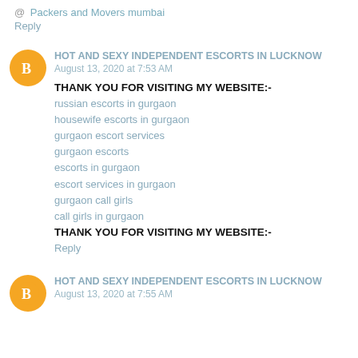@ Packers and Movers mumbai
Reply
HOT AND SEXY INDEPENDENT ESCORTS IN LUCKNOW  August 13, 2020 at 7:53 AM
THANK YOU FOR VISITING MY WEBSITE:-
russian escorts in gurgaon
housewife escorts in gurgaon
gurgaon escort services
gurgaon escorts
escorts in gurgaon
escort services in gurgaon
gurgaon call girls
call girls in gurgaon
THANK YOU FOR VISITING MY WEBSITE:-
Reply
HOT AND SEXY INDEPENDENT ESCORTS IN LUCKNOW  August 13, 2020 at 7:55 AM